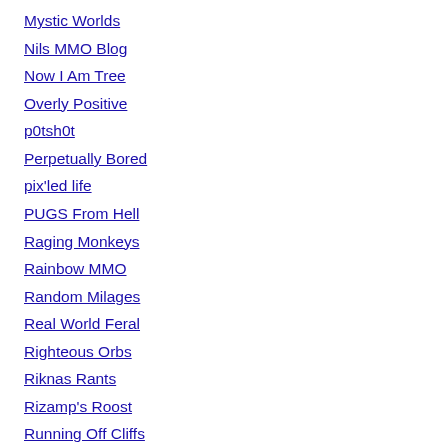Mystic Worlds
Nils MMO Blog
Now I Am Tree
Overly Positive
p0tsh0t
Perpetually Bored
pix'led life
PUGS From Hell
Raging Monkeys
Rainbow MMO
Random Milages
Real World Feral
Righteous Orbs
Riknas Rants
Rizamp's Roost
Running Off Cliffs
Scarybooster
Screaming monkeys
Shards of Imagination